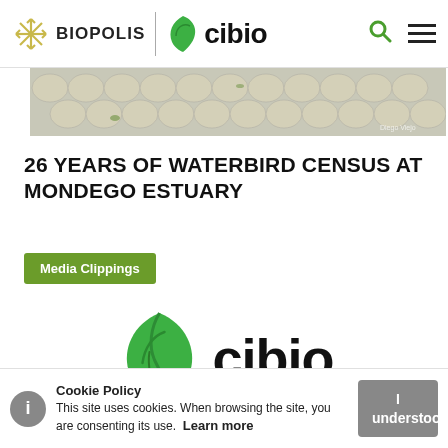[Figure (logo): BIOPOLIS and cibio navigation bar with logos, search icon, and hamburger menu]
[Figure (photo): Partial hero image showing paving stones / ground level outdoor scene]
26 YEARS OF WATERBIRD CENSUS AT MONDEGO ESTUARY
Media Clippings
[Figure (logo): Large cibio logo with green leaf icon]
Cookie Policy
This site uses cookies. When browsing the site, you are consenting its use. Learn more
I understood